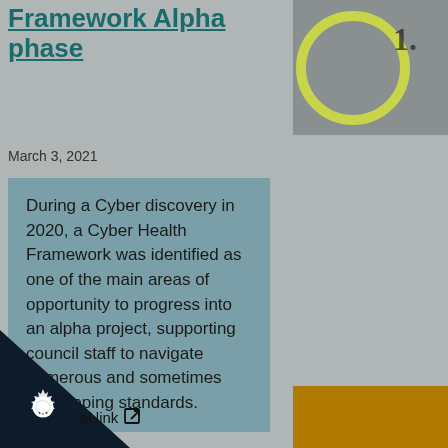Framework Alpha phase
March 3, 2021
During a Cyber discovery in 2020, a Cyber Health Framework was identified as one of the main areas of opportunity to progress into an alpha project, supporting council staff to navigate numerous and sometimes overlapping standards.
[Figure (photo): Partial photo showing a circular yellow-green graphic element with partial text 1. on a grey background, top-right corner]
[Figure (illustration): Dark navy triangle shape in the bottom-left corner with a white gear/cog icon and partial footer link text with external link icon]
[Figure (other): Amber/orange rectangle at bottom-right corner]